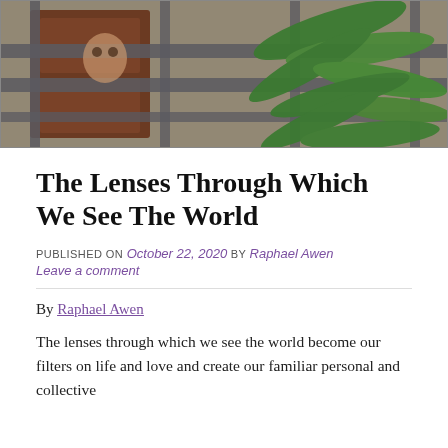[Figure (photo): A child peering through wooden barred window/gate with fern plants in the background]
The Lenses Through Which We See The World
PUBLISHED ON October 22, 2020 by Raphael Awen
Leave a comment
By Raphael Awen
The lenses through which we see the world become our filters on life and love and create our familiar personal and collective